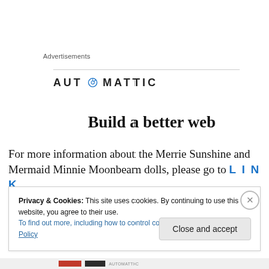Advertisements
[Figure (logo): Automattic logo with compass icon replacing the letter O]
Build a better web
For more information about the Merrie Sunshine and Mermaid Minnie Moonbeam dolls, please go to LINK
Privacy & Cookies: This site uses cookies. By continuing to use this website, you agree to their use.
To find out more, including how to control cookies, see here: Cookie Policy
Close and accept